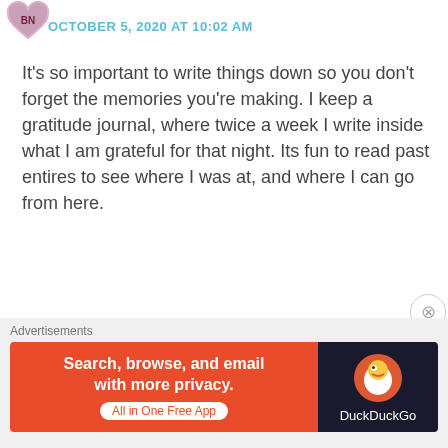OCTOBER 5, 2020 AT 10:02 AM
It's so important to write things down so you don't forget the memories you're making. I keep a gratitude journal, where twice a week I write inside what I am grateful for that night. Its fun to read past entires to see where I was at, and where I can go from here.
★ Liked by 2 people   REPLY
beccabynature
OCTOBER 7, 2020 AT 2:00 PM
That's such a lovely idea.
Advertisements
Search, browse, and email with more privacy.
All in One Free App
DuckDuckGo